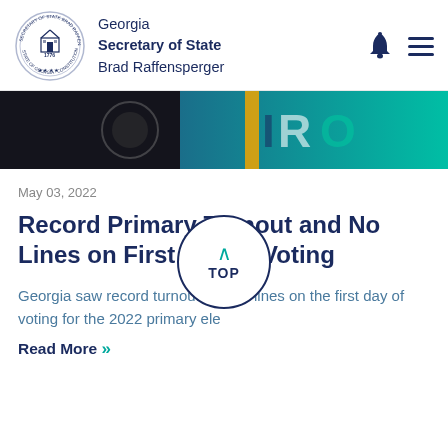Georgia Secretary of State Brad Raffensperger
[Figure (photo): Banner photo showing a Rotary-type logo with letters IRO visible, gradient teal/green overlay on right side]
May 03, 2022
Record Primary Turnout and No Lines on First Day of Voting
Georgia saw record turnout and no lines on the first day of voting for the 2022 primary ele
Read More